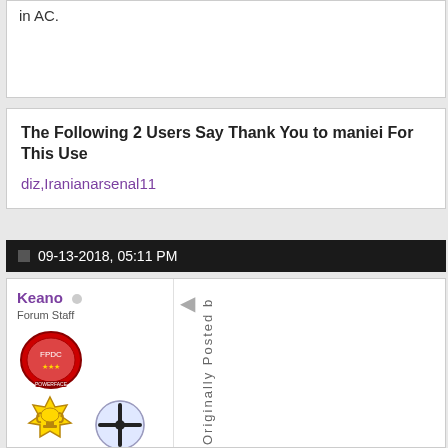in AC.
The Following 2 Users Say Thank You to maniei For This Use
diz,Iranianarsenal11
09-13-2018, 05:11 PM
Keano  Forum Staff
[Figure (illustration): Forum user badges and icons for staff member Keano]
Originally Posted